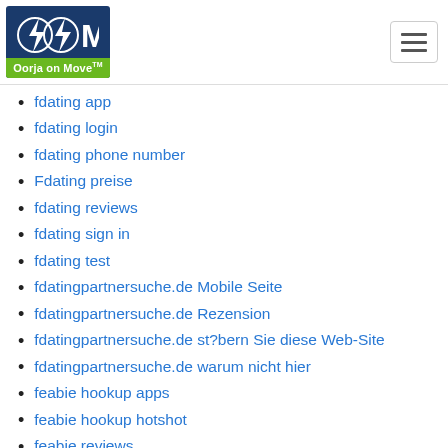Oorja on Move
fdating app
fdating login
fdating phone number
Fdating preise
fdating reviews
fdating sign in
fdating test
fdatingpartnersuche.de Mobile Seite
fdatingpartnersuche.de Rezension
fdatingpartnersuche.de st?bern Sie diese Web-Site
fdatingpartnersuche.de warum nicht hier
feabie hookup apps
feabie hookup hotshot
feabie reviews
Feabiecom visitors
feeld dating